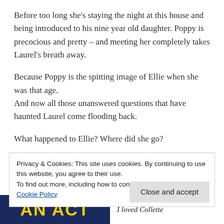Before too long she's staying the night at this house and being introduced to his nine year old daughter. Poppy is precocious and pretty – and meeting her completely takes Laurel's breath away.
Because Poppy is the spitting image of Ellie when she was that age.
And now all those unanswered questions that have haunted Laurel come flooding back.
What happened to Ellie? Where did she go?
Privacy & Cookies: This site uses cookies. By continuing to use this website, you agree to their use.
To find out more, including how to control cookies, see here:
Cookie Policy
Close and accept
[Figure (other): Bottom strip showing partial book cover with yellow text 'AN ACT' on dark blue background on the left, and italic text 'I loved Collette' on the right]